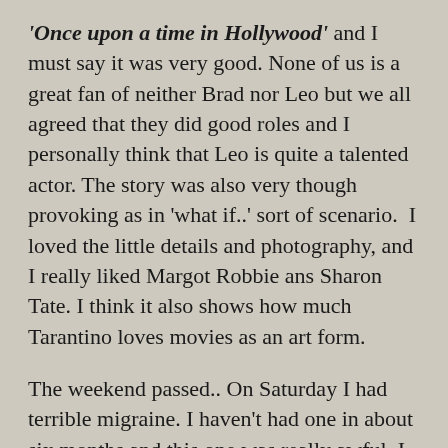'Once upon a time in Hollywood' and I must say it was very good. None of us is a great fan of neither Brad nor Leo but we all agreed that they did good roles and I personally think that Leo is quite a talented actor. The story was also very though provoking as in 'what if..' sort of scenario.  I loved the little details and photography, and I really liked Margot Robbie ans Sharon Tate. I think it also shows how much Tarantino loves movies as an art form.
The weekend passed.. On Saturday I had terrible migraine. I haven't had one in about six months and this one was really awful, I didn't know if I should throw up or not or faint or not and it made me a cry-baby too. Not nice. Luckily after two pills I managed to even vacuum the house and read but I still felt dizzy and sweaty. On Sunday I felt all